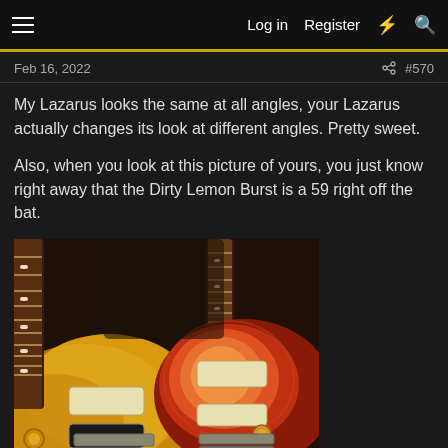Log in  Register  #570
Feb 16, 2022  #570
My Lazarus looks the same at all angles, your Lazarus actually changes its look at different angles. Pretty sweet.

Also, when you look at this picture of yours, you just know right away that the Dirty Lemon Burst is a 59 right off the bat.
[Figure (photo): Two electric guitars (Les Paul style) side by side — a yellow/gold one on the left and a sunburst (red/orange) one on the right, photographed close up against a dark background.]